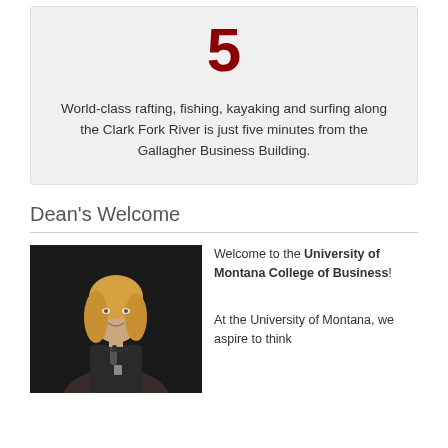5
World-class rafting, fishing, kayaking and surfing along the Clark Fork River is just five minutes from the Gallagher Business Building.
Dean's Welcome
[Figure (photo): Photo of a woman with blonde hair speaking at a podium with a microphone, against a dark background.]
Welcome to the University of Montana College of Business! At the University of Montana, we aspire to think